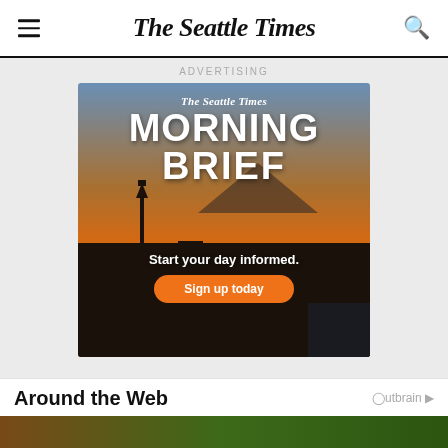The Seattle Times
ADVERTISING
[Figure (illustration): The Seattle Times Morning Brief advertisement banner showing the Seattle skyline at sunset/dusk with Space Needle silhouette, Mt. Rainier, and orange gradient sky. Text reads: The Seattle Times, MORNING BRIEF, Start your day informed. Sign up today button.]
Around the Web
[Figure (photo): Partial bottom strip showing a food/drink photo, cropped at bottom of page]